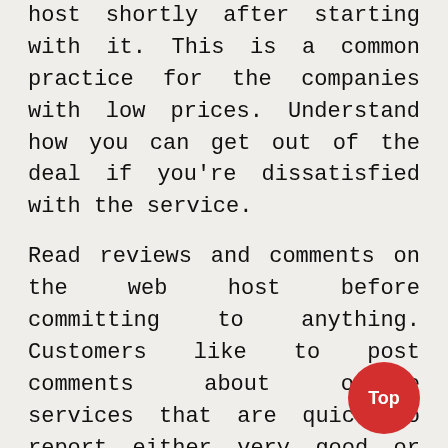host shortly after starting with it. This is a common practice for the companies with low prices. Understand how you can get out of the deal if you're dissatisfied with the service.
Read reviews and comments on the web host before committing to anything. Customers like to post comments about online services that are quick to report either very good or really bad.
You should choose a web host wherever possible.Free web hosting is acceptable for